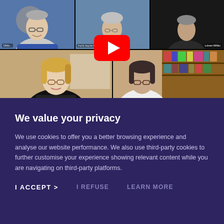[Figure (screenshot): A video conference screenshot showing multiple participants in a grid layout with a YouTube play button overlay in the center. Top row shows three participants, bottom row shows two participants.]
We value your privacy
We use cookies to offer you a better browsing experience and analyse our website performance. We also use third-party cookies to further customise your experience showing relevant content while you are navigating on third-party platforms.
I ACCEPT > | I REFUSE | LEARN MORE